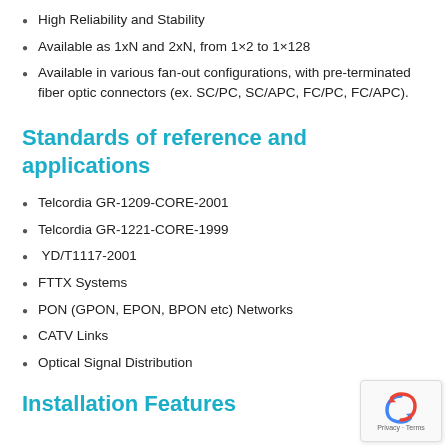High Reliability and Stability
Available as 1xN and 2xN, from 1×2 to 1×128
Available in various fan-out configurations, with pre-terminated fiber optic connectors (ex. SC/PC, SC/APC, FC/PC, FC/APC).
Standards of reference and applications
Telcordia GR-1209-CORE-2001
Telcordia GR-1221-CORE-1999
YD/T1117-2001
FTTX Systems
PON (GPON, EPON, BPON etc) Networks
CATV Links
Optical Signal Distribution
Installation Features